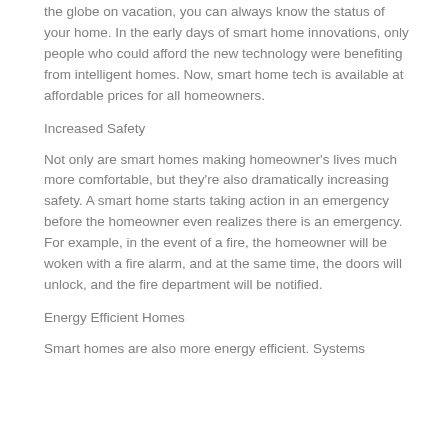the globe on vacation, you can always know the status of your home. In the early days of smart home innovations, only people who could afford the new technology were benefiting from intelligent homes. Now, smart home tech is available at affordable prices for all homeowners.
Increased Safety
Not only are smart homes making homeowner's lives much more comfortable, but they're also dramatically increasing safety. A smart home starts taking action in an emergency before the homeowner even realizes there is an emergency. For example, in the event of a fire, the homeowner will be woken with a fire alarm, and at the same time, the doors will unlock, and the fire department will be notified.
Energy Efficient Homes
Smart homes are also more energy efficient. Systems